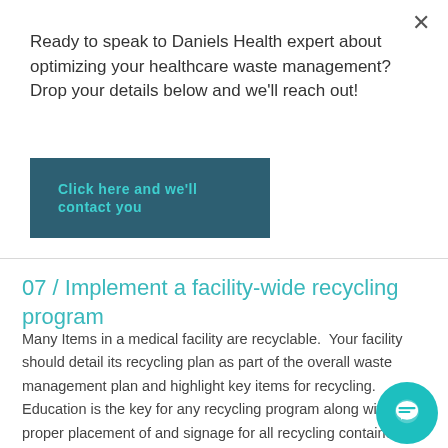Ready to speak to Daniels Health expert about optimizing your healthcare waste management?Drop your details below and we'll reach out!
Click here and we'll contact you
07 / Implement a facility-wide recycling program
Many Items in a medical facility are recyclable.  Your facility should detail its recycling plan as part of the overall waste management plan and highlight key items for recycling. Education is the key for any recycling program along with proper placement of and signage for all recycling containers throughout the facility. Installing recycling as close as possible to the point of generation will also aid in a best practice recycling program.